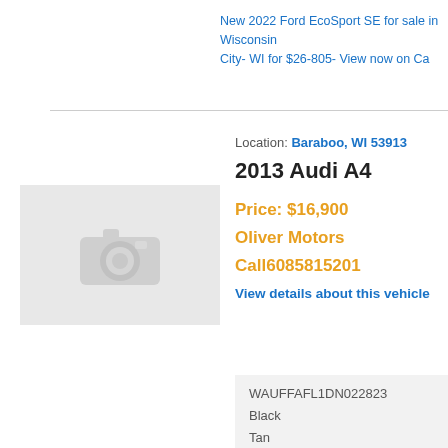New 2022 Ford EcoSport SE for sale in Wisconsin City- WI for $26-805- View now on Ca
Location: Baraboo, WI 53913
2013 Audi A4
Price: $16,900
Oliver Motors
Call6085815201
View details about this vehicle
[Figure (photo): Placeholder camera icon image for car listing with no photo available]
| WAUFFAFL1DN022823 |
| Black |
| Tan |
| 4 Cylinder Engine |
| Automatic |
| Fuel: Gasoline |
Used 2013 Audi A4 2-0T Premium Pl
Baraboo- WI for $16-900- View now o